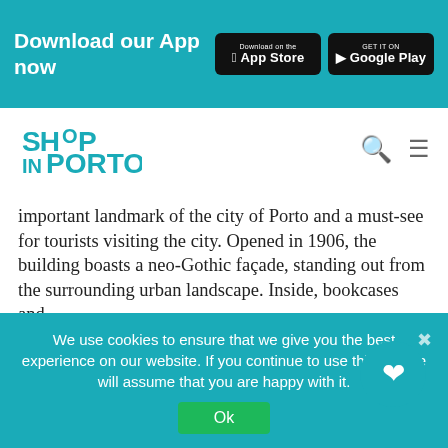Download our App now
[Figure (logo): Shop in Porto logo]
important landmark of the city of Porto and a must-see for tourists visiting the city. Opened in 1906, the building boasts a neo-Gothic façade, standing out from the surrounding urban landscape. Inside, bookcases and
[Figure (photo): Photo of Livraria Lunes (Papelaria) sign - blue sign with cursive script text reading 'Livraria Lunes' and below 'PAPELARIA']
We use cookies to ensure that we give you the best experience on our website. If you continue to use this site we will assume that you are happy with it.
Ok